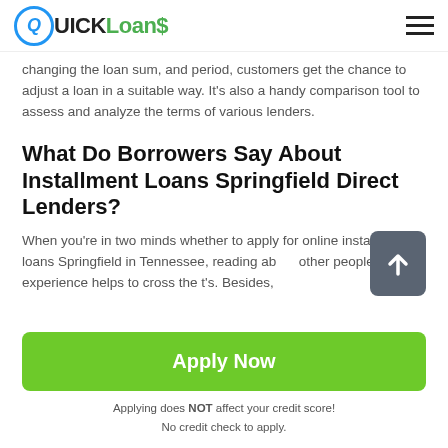QUICK Loans
changing the loan sum, and period, customers get the chance to adjust a loan in a suitable way. It's also a handy comparison tool to assess and analyze the terms of various lenders.
What Do Borrowers Say About Installment Loans Springfield Direct Lenders?
When you're in two minds whether to apply for online installment loans Springfield in Tennessee, reading about other people's experience helps to cross the t's. Besides,
Apply Now
Applying does NOT affect your credit score!
No credit check to apply.